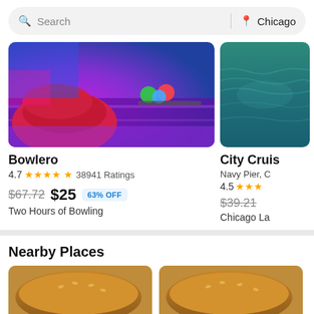Search | Chicago
[Figure (screenshot): Bowling alley interior with colorful neon lighting, red seating, and bowling balls]
Bowlero
4.7 ★★★★½ 38941 Ratings
$67.72 $25 63% OFF
Two Hours of Bowling
[Figure (photo): Teal/blue water, partial view, City Cruises listing]
City Cruis...
Navy Pier, C...
4.5 ★★★...
$39.21
Chicago La...
Nearby Places
[Figure (photo): Chicago-style hot dog on a bun with toppings - left card]
[Figure (photo): Chicago-style hot dog on a bun with toppings - right card]